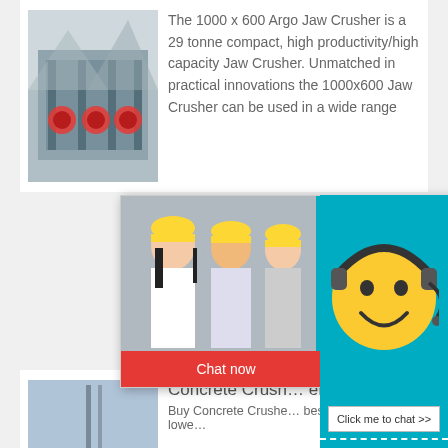[Figure (photo): Industrial jaw crusher facility building with red circular components and mountain background]
The 1000 x 600 Argo Jaw Crusher is a 29 tonne compact, high productivity/high capacity Jaw Crusher. Unmatched in practical innovations the 1000x600 Jaw Crusher can be used in a wide range
[Figure (screenshot): Live chat popup overlay showing workers in yellow hard hats, 'LIVE CHAT' text in red italic font, 'Click for a Free Consultation' subtitle, 7 hours online indicator, Chat now and Chat later buttons, smiley face with headset, Click me to chat button, Enquiry section, and email address superbrian707@gm]
[Figure (photo): Concrete crusher industrial equipment with tall crane pole against sky background]
Concrete Crush… eBay
Buy Concrete Crushe… best deals at the lowe…